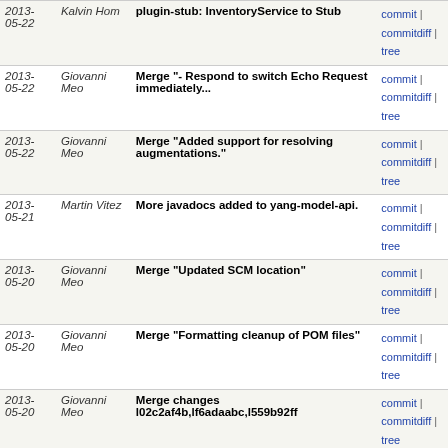| Date | Author | Message | Links |
| --- | --- | --- | --- |
| 2013-05-22 | Kalvin Hom | plugin-stub: InventoryService to Stub | commit | commitdiff | tree |
| 2013-05-22 | Giovanni Meo | Merge "- Respond to switch Echo Request immediately... | commit | commitdiff | tree |
| 2013-05-22 | Giovanni Meo | Merge "Added support for resolving augmentations." | commit | commitdiff | tree |
| 2013-05-21 | Martin Vitez | More javadocs added to yang-model-api. | commit | commitdiff | tree |
| 2013-05-20 | Giovanni Meo | Merge "Updated SCM location" | commit | commitdiff | tree |
| 2013-05-20 | Giovanni Meo | Merge "Formatting cleanup of POM files" | commit | commitdiff | tree |
| 2013-05-20 | Giovanni Meo | Merge changes l02c2af4b,lf6adaabc,l559b92ff | commit | commitdiff | tree |
| 2013-05-20 | Giovanni Meo | Merge "Fixed tests. Added javadocs to yang-model-api... | commit | commitdiff | tree |
| 2013-05-16 | Giovanni Meo | Merge "Fixing minor build errors" | commit | commitdiff | tree |
| 2013-05-16 | Giovanni Meo | Merge "Five more Equals/HashCode/StringBuilder replacements" | commit | commitdiff | tree |
| 2013-05-16 | Giovanni Meo | Merge "Seven more Equals/HashCode/StringBuilder replacements" | commit | commitdiff | tree |
| 2013-05-16 | Giovanni Meo | Merge "Six more Equals/HashCode/StringBuilder replacements" | commit | commitdiff | tree |